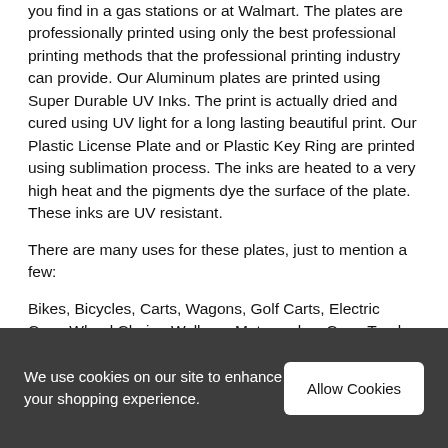you find in a gas stations or at Walmart. The plates are professionally printed using only the best professional printing methods that the professional printing industry can provide. Our Aluminum plates are printed using Super Durable UV Inks. The print is actually dried and cured using UV light for a long lasting beautiful print. Our Plastic License Plate and or Plastic Key Ring are printed using sublimation process. The inks are heated to a very high heat and the pigments dye the surface of the plate. These inks are UV resistant.
There are many uses for these plates, just to mention a few:
Bikes, Bicycles, Carts, Wagons, Golf Carts, Electric Cars, Wheel Chairs, Walkers, Motorcycles, Cars, Trucks, Boats, Door Signage, Cubicle Signage, Kid's Room Door Signs, Garden Sign, Mailbox Sign, Scooters, Mopeds, Mini Electric
We use cookies on our site to enhance your shopping experience.